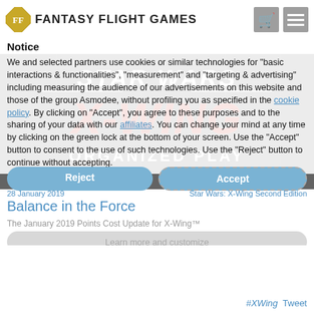Notice
[Figure (logo): Fantasy Flight Games logo with diamond FFG icon and text 'FANTASY FLIGHT GAMES', with shopping cart and hamburger menu icons on right]
We and selected partners use cookies or similar technologies for "basic interactions & functionalities", "measurement" and "targeting & advertising" including measuring the audience of our advertisements on this website and those of the group Asmodee, without profiling you as specified in the cookie policy. By clicking on "Accept", you agree to these purposes and to the sharing of your data with our affiliates. You can change your mind at any time by clicking on the green lock at the bottom of your screen. Use the "Accept" button to consent to the use of such technologies. Use the "Reject" button to continue without accepting.
[Figure (illustration): Star Wars X-Wing Organized Play promotional banner with dark background, Star Wars logo, large X-WING text in red, and 'ORGANIZED PLAY' text. Copyright A & TM Lucasfilm Ltd.]
28 January 2019
Star Wars: X-Wing Second Edition
Balance in the Force
The January 2019 Points Cost Update for X-Wing™
#XWing  Tweet